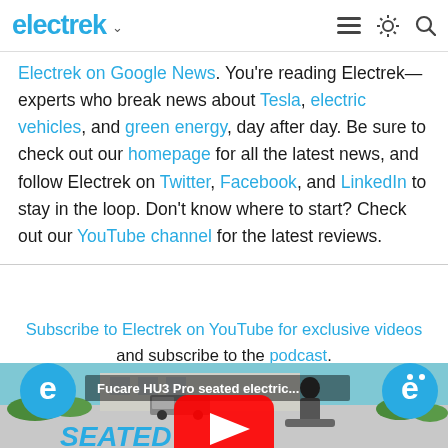electrek
Electrek on Google News. You're reading Electrek— experts who break news about Tesla, electric vehicles, and green energy, day after day. Be sure to check out our homepage for all the latest news, and follow Electrek on Twitter, Facebook, and LinkedIn to stay in the loop. Don't know where to start? Check out our YouTube channel for the latest reviews.
Subscribe to Electrek on YouTube for exclusive videos and subscribe to the podcast.
[Figure (screenshot): YouTube video thumbnail showing a person riding a seated electric scooter in a parking lot. Title reads 'Fucare HU3 Pro seated electric...' with Electrek logo and YouTube play button overlay. Text 'SEATED' visible at bottom.]